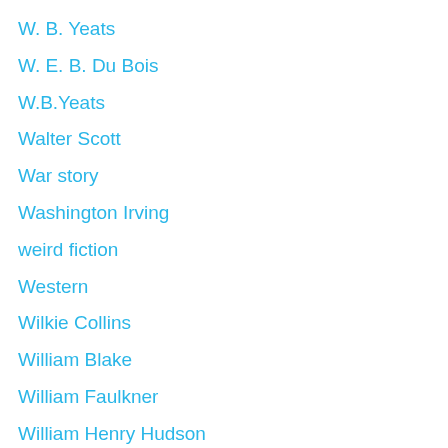W. B. Yeats
W. E. B. Du Bois
W.B.Yeats
Walter Scott
War story
Washington Irving
weird fiction
Western
Wilkie Collins
William Blake
William Faulkner
William Henry Hudson
William Hope Hodgson